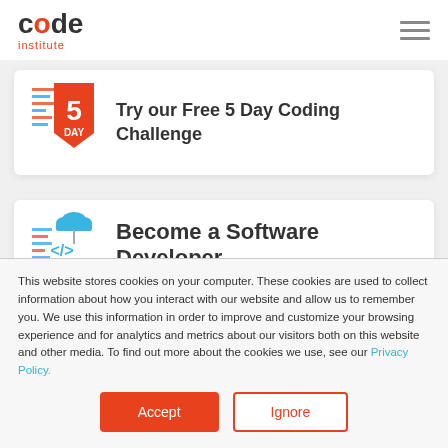[Figure (logo): Code Institute logo with 'code' in bold dark text and 'institute' in orange below]
[Figure (illustration): Hamburger menu icon (three horizontal gray lines)]
[Figure (illustration): 5 Day coding challenge badge icon with orange shield and code lines]
Try our Free 5 Day Coding Challenge
[Figure (illustration): Become a Software Developer icon with cloud, code brackets, and code lines]
Become a Software Developer
This website stores cookies on your computer. These cookies are used to collect information about how you interact with our website and allow us to remember you. We use this information in order to improve and customize your browsing experience and for analytics and metrics about our visitors both on this website and other media. To find out more about the cookies we use, see our Privacy Policy.
Accept
Ignore